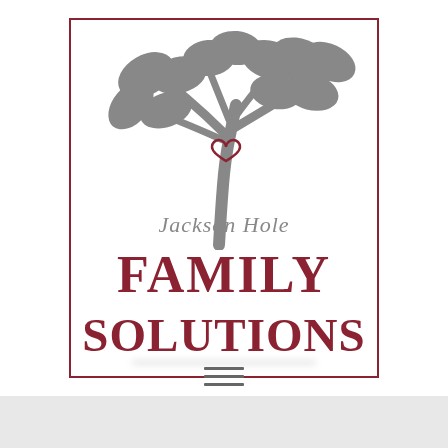[Figure (logo): Jackson Hole Family Solutions logo: a grey stylized tree with multiple leaves and a small red heart at the trunk fork, script text 'Jackson Hole' in grey italic, bold dark red serif text 'FAMILY SOLUTIONS' below, all within a dark red rectangular border]